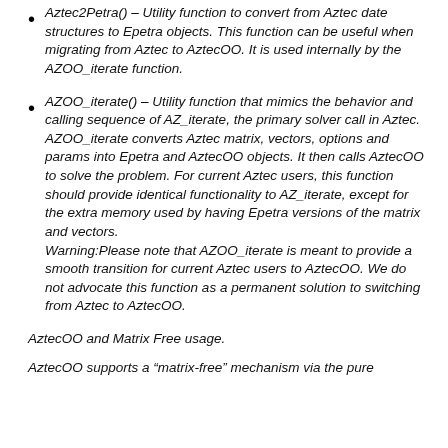Aztec2Petra() – Utility function to convert from Aztec date structures to Epetra objects. This function can be useful when migrating from Aztec to AztecOO. It is used internally by the AZOO_iterate function.
AZOO_iterate() – Utility function that mimics the behavior and calling sequence of AZ_iterate, the primary solver call in Aztec. AZOO_iterate converts Aztec matrix, vectors, options and params into Epetra and AztecOO objects. It then calls AztecOO to solve the problem. For current Aztec users, this function should provide identical functionality to AZ_iterate, except for the extra memory used by having Epetra versions of the matrix and vectors. Warning:Please note that AZOO_iterate is meant to provide a smooth transition for current Aztec users to AztecOO. We do not advocate this function as a permanent solution to switching from Aztec to AztecOO.
AztecOO and Matrix Free usage.
AztecOO supports a “matrix-free” mechanism via the pure